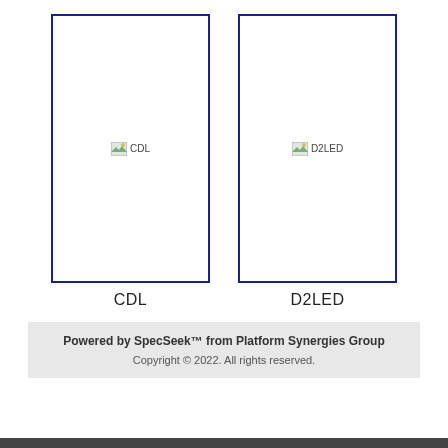[Figure (illustration): Card box with broken image placeholder labeled CDL, outlined with dark navy border]
CDL
[Figure (illustration): Card box with broken image placeholder labeled D2LED, outlined with dark navy border]
D2LED
Powered by SpecSeek™ from Platform Synergies Group
Copyright © 2022. All rights reserved.